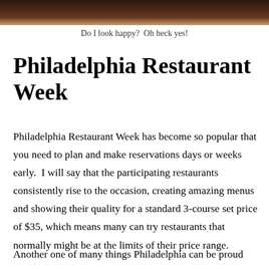[Figure (photo): Partial photo strip at top of page showing a person at a restaurant, cropped to a narrow horizontal band]
Do I look happy?  Oh heck yes!
Philadelphia Restaurant Week
Philadelphia Restaurant Week has become so popular that you need to plan and make reservations days or weeks early.  I will say that the participating restaurants consistently rise to the occasion, creating amazing menus and showing their quality for a standard 3-course set price of $35, which means many can try restaurants that normally might be at the limits of their price range.
Another one of many things Philadelphia can be proud